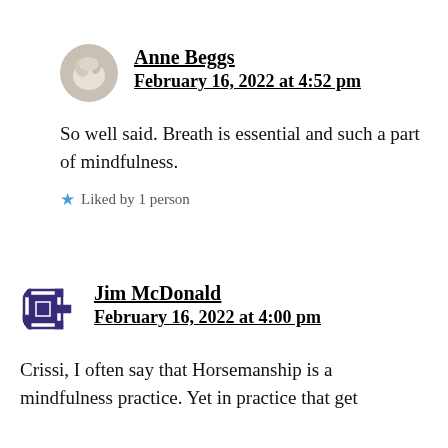[Figure (photo): Circular avatar photo of Anne Beggs, showing a light-colored horse or similar animal, grayscale tones]
Anne Beggs
February 16, 2022 at 4:52 pm
So well said. Breath is essential and such a part of mindfulness.
Liked by 1 person
[Figure (logo): Jim McDonald avatar — purple/dark blue geometric quilt-pattern square logo]
Jim McDonald
February 16, 2022 at 4:00 pm
Crissi, I often say that Horsemanship is a mindfulness practice. Yet in practice that get